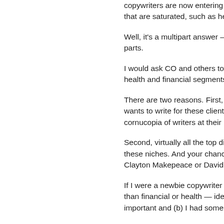copywriters are now entering this sp that are saturated, such as health a
Well, it's a multipart answer — and parts.
I would ask CO and others to seriou health and financial segments of co
There are two reasons. First, every wants to write for these clients. And cornucopia of writers at their beck a
Second, virtually all the top direct re these niches. And your chances of w Clayton Makepeace or David Deuts
If I were a newbie copywriter today, than financial or health — ideally, on important and (b) I had some advan
For instance, if you have worked as would be a logical niche, because y traveled many thousands or millions copywriters.
Remember, two things clients look f